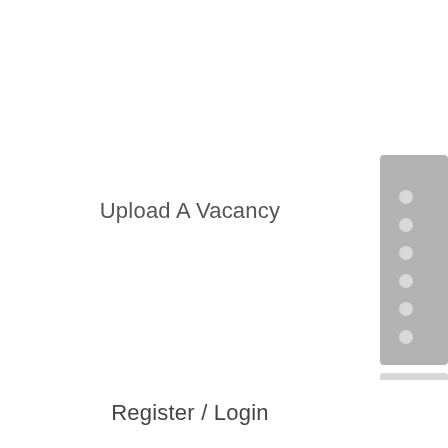Upload A Vacancy
[Figure (other): Navigation sidebar panel with circular dot indicators (scrollbar/navigation widget) on the right side of the page, colored gray]
Register / Login